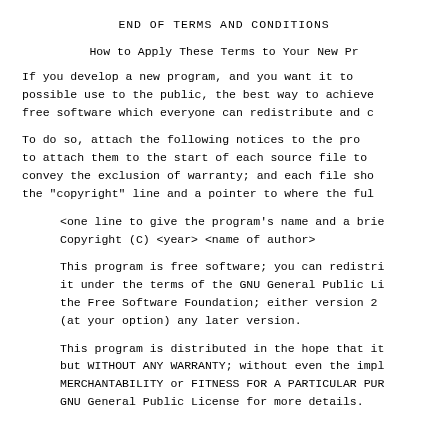END OF TERMS AND CONDITIONS
How to Apply These Terms to Your New Pr
If you develop a new program, and you want it to
possible use to the public, the best way to achieve
free software which everyone can redistribute and c
To do so, attach the following notices to the pro
to attach them to the start of each source file to
convey the exclusion of warranty; and each file sho
the "copyright" line and a pointer to where the ful
<one line to give the program's name and a brie
Copyright (C) <year>  <name of author>
This program is free software; you can redistri
it under the terms of the GNU General Public Li
the Free Software Foundation; either version 2
(at your option) any later version.
This program is distributed in the hope that it
but WITHOUT ANY WARRANTY; without even the impl
MERCHANTABILITY or FITNESS FOR A PARTICULAR PUR
GNU General Public License for more details.